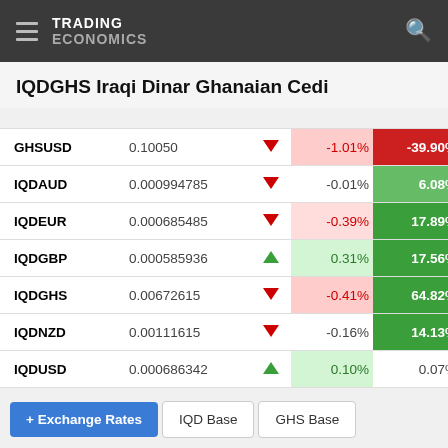TRADING ECONOMICS
IQDGHS Iraqi Dinar Ghanaian Cedi
|  |  |  |  |  |
| --- | --- | --- | --- | --- |
| GHSUSD | 0.10050 | ▼ | -1.01% | -39.90% |
| IQDAUD | 0.000994785 | ▼ | -0.01% | 6.08% |
| IQDEUR | 0.000685485 | ▼ | -0.39% | 17.89% |
| IQDGBP | 0.000585936 | ▲ | 0.31% | 17.56% |
| IQDGHS | 0.00672615 | ▼ | -0.41% | 64.82% |
| IQDNZD | 0.00111615 | ▼ | -0.16% | 14.13% |
| IQDUSD | 0.000686342 | ▲ | 0.10% | 0.07% |
+ Exchange Rates   IQD Base   GHS Base